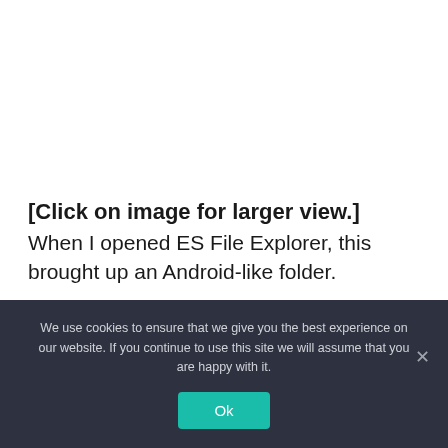[Click on image for larger view.] When I opened ES File Explorer, this brought up an Android-like folder.
We use cookies to ensure that we give you the best experience on our website. If you continue to use this site we will assume that you are happy with it.